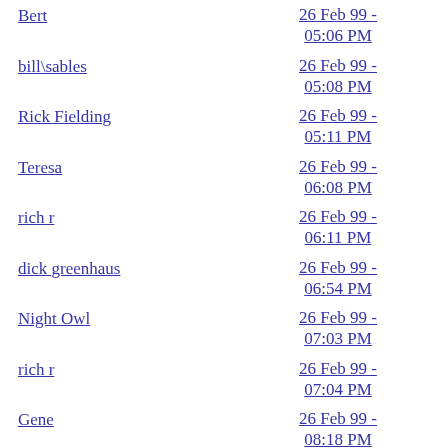Bert | 26 Feb 99 - 05:06 PM
bill\sables | 26 Feb 99 - 05:08 PM
Rick Fielding | 26 Feb 99 - 05:11 PM
Teresa | 26 Feb 99 - 06:08 PM
rich r | 26 Feb 99 - 06:11 PM
dick greenhaus | 26 Feb 99 - 06:54 PM
Night Owl | 26 Feb 99 - 07:03 PM
rich r | 26 Feb 99 - 07:04 PM
Gene | 26 Feb 99 - 08:18 PM
R. Driscoll | 26 Feb 99 - 08:18 PM
26 Feb 99 - 08:27 PM
Roger in Baltimore | 26 Feb 99 - 08:53 PM
Teresa | 26 Feb 99 - 09:16 PM